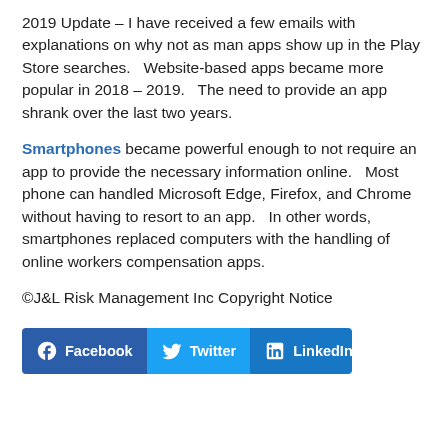2019 Update – I have received a few emails with explanations on why not as man apps show up in the Play Store searches.   Website-based apps became more popular in 2018 – 2019.   The need to provide an app shrank over the last two years.
Smartphones became powerful enough to not require an app to provide the necessary information online.   Most phone can handled Microsoft Edge, Firefox, and Chrome without having to resort to an app.   In other words, smartphones replaced computers with the handling of online workers compensation apps.
©J&L Risk Management Inc Copyright Notice
[Figure (infographic): Social sharing bar with three buttons: Facebook (dark blue), Twitter (light blue), LinkedIn (medium blue), each with icon and label text in white.]